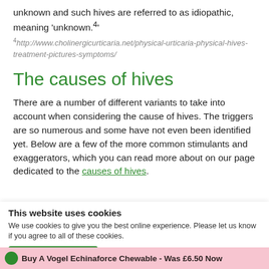unknown and such hives are referred to as idiopathic, meaning 'unknown.4'
4 http://www.cholinergicurticaria.net/physical-urticaria-physical-hives-treatment-pictures-symptoms/
The causes of hives
There are a number of different variants to take into account when considering the cause of hives. The triggers are so numerous and some have not even been identified yet. Below are a few of the more common stimulants and exaggerators, which you can read more about on our page dedicated to the causes of hives.
Genetics
Weakening of the system
This website uses cookies
We use cookies to give you the best online experience. Please let us know if you agree to all of these cookies.
Buy A Vogel Echinaforce Chewable - Was £6.50 Now £4.50